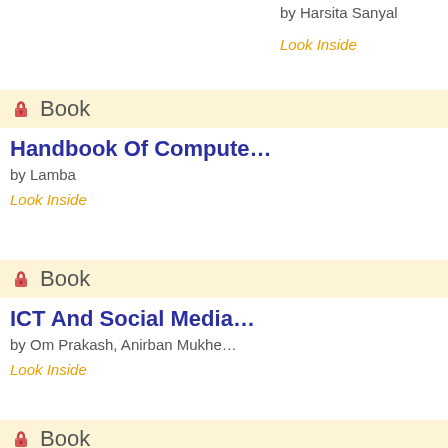by Harsita Sanyal
Look Inside
Book
Handbook Of Computer...
by Lamba
Look Inside
Book
ICT And Social Media...
by Om Prakash, Anirban Mukhe...
Look Inside
Book